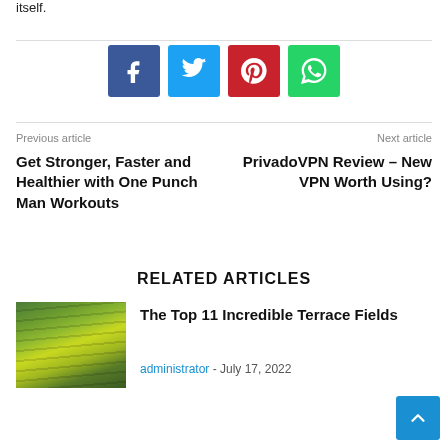itself.
[Figure (other): Social sharing icons: Facebook (blue), Twitter (light blue), Pinterest (red), WhatsApp (green)]
Previous article
Next article
Get Stronger, Faster and Healthier with One Punch Man Workouts
PrivadoVPN Review – New VPN Worth Using?
RELATED ARTICLES
[Figure (photo): Photo of terrace rice fields on green hillside]
The Top 11 Incredible Terrace Fields
administrator - July 17, 2022